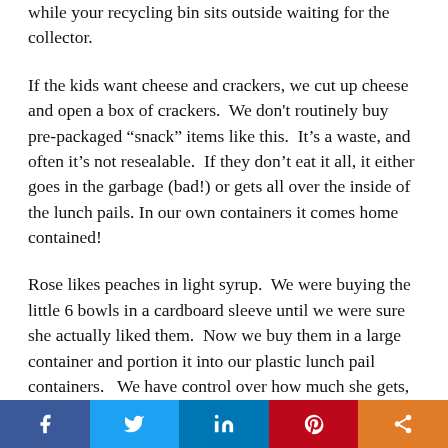while your recycling bin sits outside waiting for the collector.
If the kids want cheese and crackers, we cut up cheese and open a box of crackers.  We don't routinely buy pre-packaged “snack” items like this.  It’s a waste, and often it’s not resealable.  If they don’t eat it all, it either goes in the garbage (bad!) or gets all over the inside of the lunch pails. In our own containers it comes home contained!
Rose likes peaches in light syrup.  We were buying the little 6 bowls in a cardboard sleeve until we were sure she actually liked them.  Now we buy them in a large container and portion it into our plastic lunch pail containers.   We have control over how much she gets, and if she doesn’t eat it, it comes home sealed in that container.  This can work for all kinds of things: raisins or nuts (though not at school!),